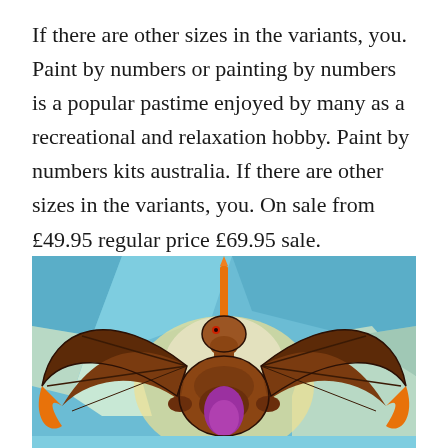If there are other sizes in the variants, you. Paint by numbers or painting by numbers is a popular pastime enjoyed by many as a recreational and relaxation hobby. Paint by numbers kits australia. If there are other sizes in the variants, you. On sale from £49.95 regular price £69.95 sale.
[Figure (illustration): A stained-glass style illustration of a dragon with spread wings, brown body, purple belly, orange wing tips, holding a glowing orange horn/sword, set against a blue and light green geometric background.]